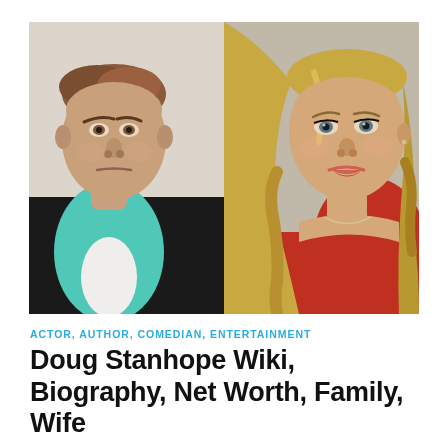[Figure (photo): Side-by-side composite photo: left half shows a middle-aged man with short brown hair wearing a teal/turquoise shirt and black jacket against a white background; right half shows a young blonde woman with long wavy hair wearing a red top against a neutral background.]
ACTOR, AUTHOR, COMEDIAN, ENTERTAINMENT
Doug Stanhope Wiki, Biography, Net Worth, Family, Wife